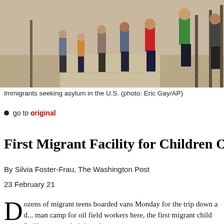[Figure (photo): Immigrants walking along a path, viewed from behind, at what appears to be a detention or processing facility. Multiple people of varying heights visible, some in colorful clothing.]
Immigrants seeking asylum in the U.S. (photo: Eric Gay/AP)
go to original
First Migrant Facility for Children Opens Un...
By Silvia Foster-Frau, The Washington Post
23 February 21
Dozens of migrant teens boarded vans Monday for the trip down a d... man camp for oil field workers here, the first migrant child facility ope... administration.